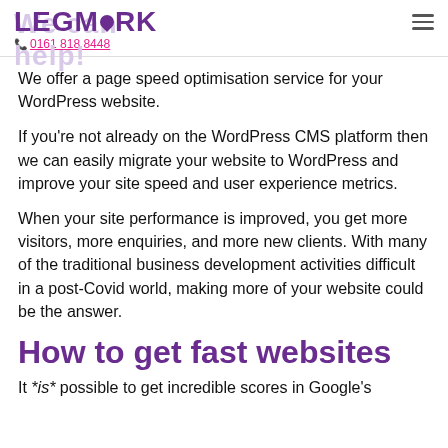LEGMARK 0161 818 8448
We offer a page speed optimisation service for your WordPress website.
If you're not already on the WordPress CMS platform then we can easily migrate your website to WordPress and improve your site speed and user experience metrics.
When your site performance is improved, you get more visitors, more enquiries, and more new clients. With many of the traditional business development activities difficult in a post-Covid world, making more of your website could be the answer.
How to get fast websites
It *is* possible to get incredible scores in Google's